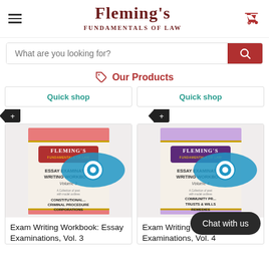Fleming's Fundamentals of Law
What are you looking for?
Our Products
Quick shop
Quick shop
[Figure (photo): Fleming's Essay Examination Writing Workbook Volume 3 - Constitutional, Criminal Procedure, Corporations]
[Figure (photo): Fleming's Essay Examination Writing Workbook Volume 4 - Community Property, Trusts & Wills, Remedies]
Exam Writing Workbook: Essay Examinations, Vol. 3
Exam Writing Workbook: Essay Examinations, Vol. 4